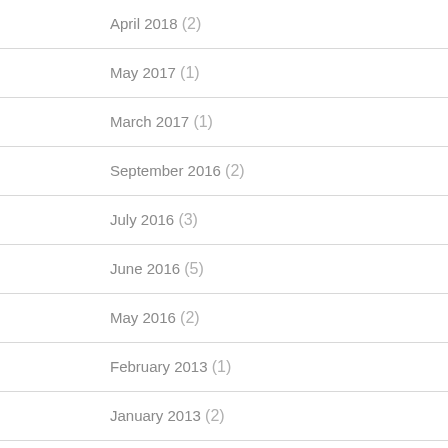April 2018 (2)
May 2017 (1)
March 2017 (1)
September 2016 (2)
July 2016 (3)
June 2016 (5)
May 2016 (2)
February 2013 (1)
January 2013 (2)
February 2011 (1)
December 2010 (1)